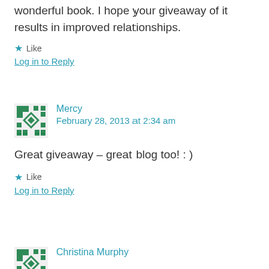wonderful book. I hope your giveaway of it results in improved relationships.
★ Like
Log in to Reply
Mercy
February 28, 2013 at 2:34 am
Great giveaway – great blog too! : )
★ Like
Log in to Reply
Christina Murphy